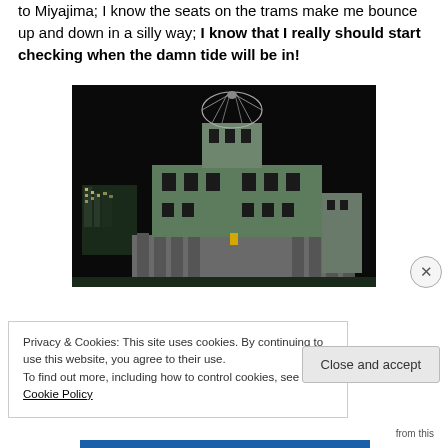to Miyajima; I know the seats on the trams make me bounce up and down in a silly way; I know that I really should start checking when the damn tide will be in!
[Figure (photo): Night photograph of the Hiroshima Peace Memorial (Atomic Bomb Dome / Genbaku Dome), illuminated in green light against a dark background. The distinctive skeletal metal dome structure is visible at the top of the ruined building. City lights visible in the background to the left.]
Privacy & Cookies: This site uses cookies. By continuing to use this website, you agree to their use.
To find out more, including how to control cookies, see here: Cookie Policy
Close and accept